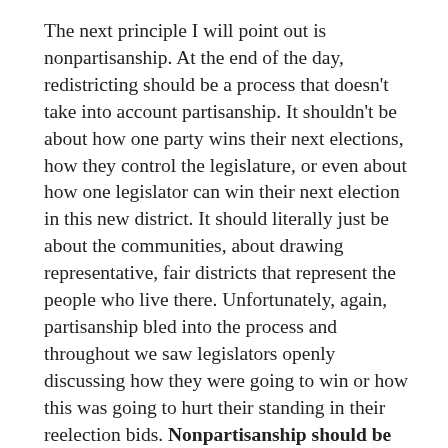The next principle I will point out is nonpartisanship. At the end of the day, redistricting should be a process that doesn't take into account partisanship. It shouldn't be about how one party wins their next elections, how they control the legislature, or even about how one legislator can win their next election in this new district. It should literally just be about the communities, about drawing representative, fair districts that represent the people who live there. Unfortunately, again, partisanship bled into the process and throughout we saw legislators openly discussing how they were going to win or how this was going to hurt their standing in their reelection bids. Nonpartisanship should be an enshrined value in the redistricting process.
Lastly, I want to point towards typically disenfranchised, marginalized groups. We are talking about what are normally minority communities, whether that's Black communities, Latino communities, Native American communities. Redistricting should take into account the